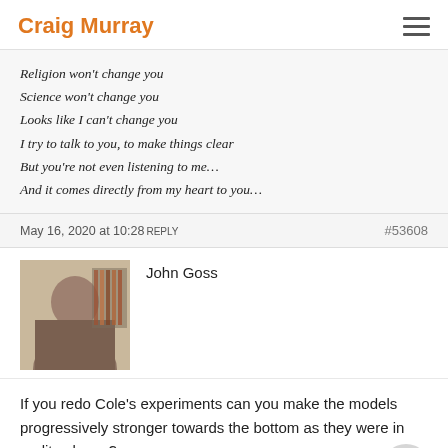Craig Murray
Religion won't change you
Science won't change you
Looks like I can't change you
I try to talk to you, to make things clear
But you're not even listening to me…
And it comes directly from my heart to you…
May 16, 2020 at 10:28 REPLY #53608
John Goss
If you redo Cole's experiments can you make the models progressively stronger towards the bottom as they were in reality please?
May 16, 2020 at 12:34 REPLY #53612